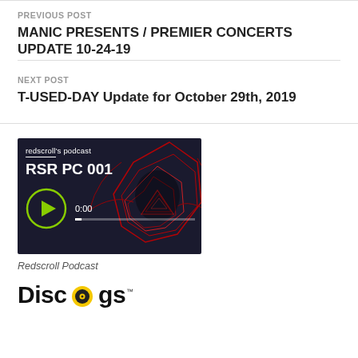PREVIOUS POST
MANIC PRESENTS / PREMIER CONCERTS UPDATE 10-24-19
NEXT POST
T-USED-DAY Update for October 29th, 2019
[Figure (screenshot): Redscroll podcast player thumbnail showing RSR PC 001 episode with play button at 0:00]
Redscroll Podcast
[Figure (logo): Discogs logo with stylized o containing a vinyl record]